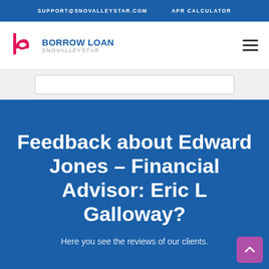SUPPORT@SNOVALLEYSTAR.COM   APR CALCULATOR
[Figure (logo): Borrow Loan Snovalleystar logo with stylized 'b' and spiral icon in pink/magenta]
Feedback about Edward Jones – Financial Advisor: Eric L Galloway?
Here you see the reviews of our clients.